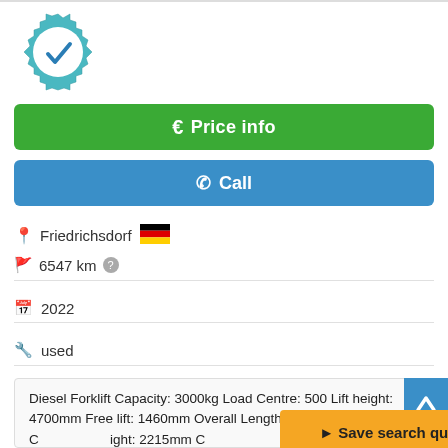[Figure (logo): Certified Dealer badge - teal gear icon with checkmark and text CERTIFIED DEALER]
€ Price info
✆ Call
Friedrichsdorf 🇩🇪
6547 km ?
2022
used
Diesel Forklift Capacity: 3000kg Load Centre: 500 Lift height: 4700mm Free lift: 1460mm Overall Length: 2715mm C[...] ight: 2215mm C[...] Triplex Fork length: 1200mm YOM: 2022 Condition: New
Save search query